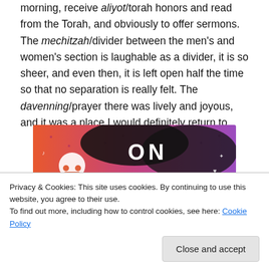morning, receive aliyot/torah honors and read from the Torah, and obviously to offer sermons. The mechitzah/divider between the men's and women's section is laughable as a divider, it is so sheer, and even then, it is left open half the time so that no separation is really felt. The davenning/prayer there was lively and joyous, and it was a place I would definitely return to.
[Figure (screenshot): Tumblr branded image with colorful orange-to-purple gradient background, white skull and doodle icons, and bold white text reading 'ON tumblr']
Privacy & Cookies: This site uses cookies. By continuing to use this website, you agree to their use.
To find out more, including how to control cookies, see here: Cookie Policy